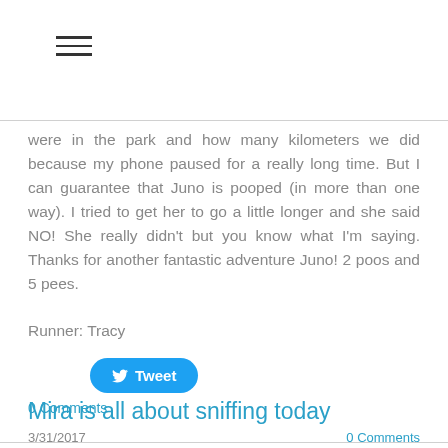☰
were in the park and how many kilometers we did because my phone paused for a really long time. But I can guarantee that Juno is pooped (in more than one way). I tried to get her to go a little longer and she said NO! She really didn't but you know what I'm saying. Thanks for another fantastic adventure Juno! 2 poos and 5 pees.
Runner: Tracy
[Figure (other): Twitter Tweet button]
0 Comments
Mira is all about sniffing today
3/31/2017
0 Comments